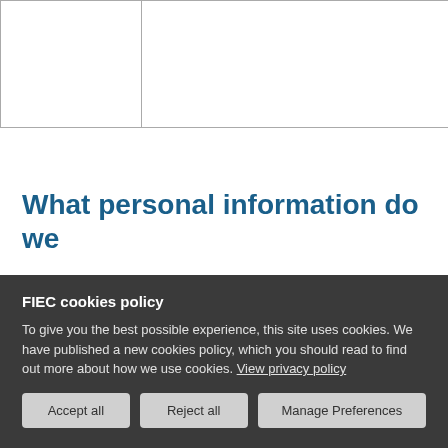|  |  | anonymous statistical data |
What personal information do we
FIEC cookies policy
To give you the best possible experience, this site uses cookies. We have published a new cookies policy, which you should read to find out more about how we use cookies. View privacy policy